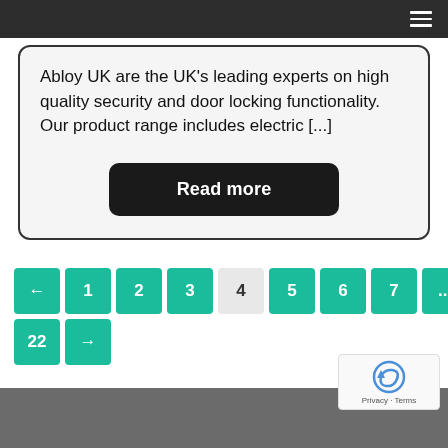Navigation menu bar
Abloy UK are the UK's leading experts on high quality security and door locking functionality. Our product range includes electric [...]
Read more
← 1 2 3 4 5 6 7 ... 22 →